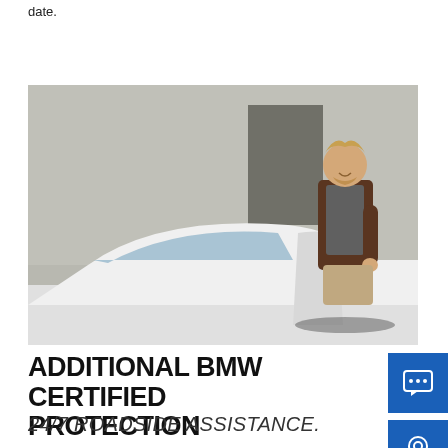date.
[Figure (photo): Man in brown jacket smiling as he opens the door of a white BMW sedan, photographed against a concrete wall background.]
ADDITIONAL BMW CERTIFIED PROTECTION
24/7 ROADSIDE ASSISTANCE.